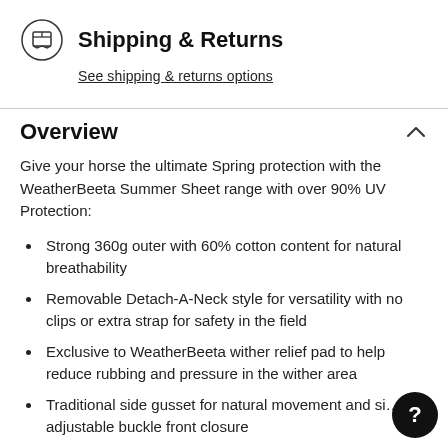Shipping & Returns
See shipping & returns options
Overview
Give your horse the ultimate Spring protection with the WeatherBeeta Summer Sheet range with over 90% UV Protection:
Strong 360g outer with 60% cotton content for natural breathability
Removable Detach-A-Neck style for versatility with no clips or extra strap for safety in the field
Exclusive to WeatherBeeta wither relief pad to help reduce rubbing and pressure in the wither area
Traditional side gusset for natural movement and si... adjustable buckle front closure